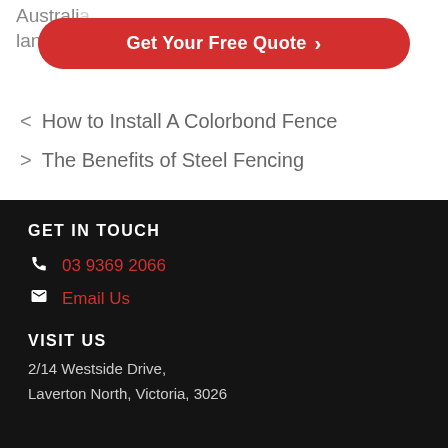Australian … aping, landscaping…
[Figure (other): Red CTA button reading 'Get Your Free Quote >']
< How to Install A Colorbond Fence
> The Benefits of Steel Fencing
GET IN TOUCH
03 9369 2066
Email Us
VISIT US
2/14 Westside Drive,
Laverton North, Victoria, 3026